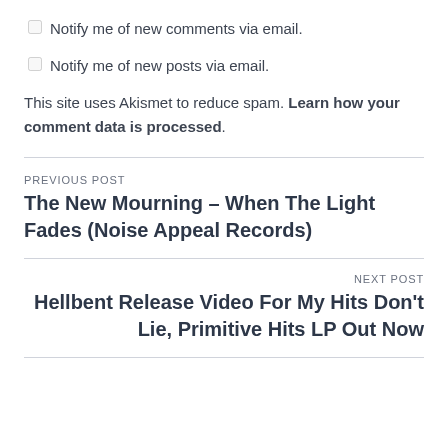Notify me of new comments via email.
Notify me of new posts via email.
This site uses Akismet to reduce spam. Learn how your comment data is processed.
PREVIOUS POST
The New Mourning – When The Light Fades (Noise Appeal Records)
NEXT POST
Hellbent Release Video For My Hits Don't Lie, Primitive Hits LP Out Now